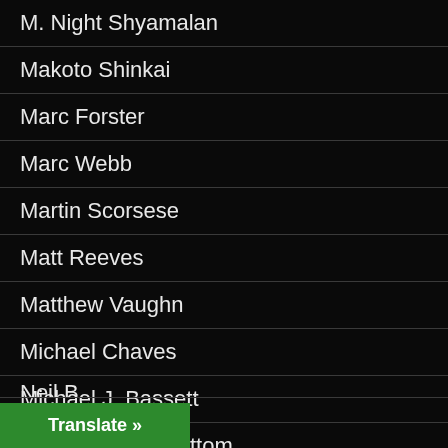M. Night Shyamalan
Makoto Shinkai
Marc Forster
Marc Webb
Martin Scorsese
Matt Reeves
Matthew Vaughn
Michael Chaves
Michael J. Bassett
Michael Winterbottom
Mikael Håfström
Neil B...
Translate »